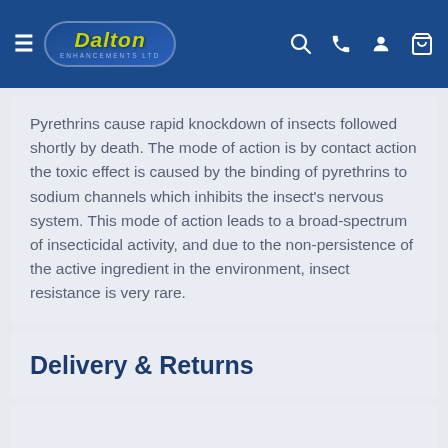Dalton Enhancements Ltd — navigation bar
Pyrethrins cause rapid knockdown of insects followed shortly by death. The mode of action is by contact action the toxic effect is caused by the binding of pyrethrins to sodium channels which inhibits the insect's nervous system. This mode of action leads to a broad-spectrum of insecticidal activity, and due to the non-persistence of the active ingredient in the environment, insect resistance is very rare.
Delivery & Returns